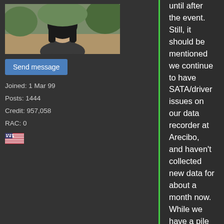[Figure (photo): Avatar/profile photo of a user showing a person from behind with dark hair outdoors]
Send message
Joined: 1 Mar 99
Posts: 1444
Credit: 957,058
RAC: 0
[Figure (illustration): US flag emoji icon]
until after the event. Still, it should be mentioned we continue to have SATA/driver issues on our data recorder at Arecibo, and haven't collected new data for about a month now. While we have a pile of data yet to crunch readily available on disk, I started pulling up unanalyzed data from our offsite archives.

Before doing so I went through the whole data inventory rigamarole this morning. We have 1787 raw multi-beam data files (mostly all 50GB in size) archived, of which 338 haven't been split at all. However, a portion of these files were recorded before 2008, i.e. before we had a hardware radar blanking signal embedded in the data. So until we got my software radar blanker...